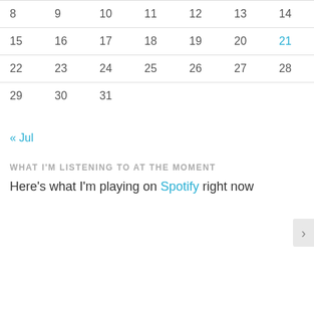| 8 | 9 | 10 | 11 | 12 | 13 | 14 |
| 15 | 16 | 17 | 18 | 19 | 20 | 21 |
| 22 | 23 | 24 | 25 | 26 | 27 | 28 |
| 29 | 30 | 31 |  |  |  |  |
« Jul
WHAT I'M LISTENING TO AT THE MOMENT
Here's what I'm playing on Spotify right now
Privacy & Cookies: This site uses cookies. By continuing to use this website, you agree to their use.
To find out more, including how to control cookies, see here: Cookie Policy
Close and accept